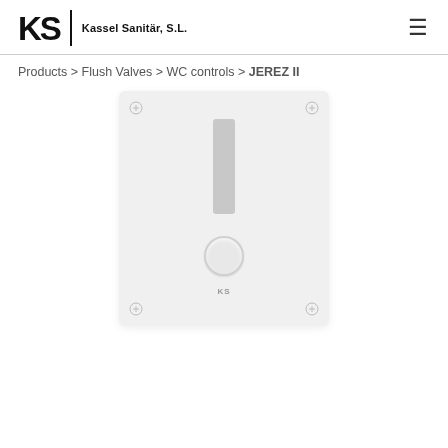KS Kassel Sanitär, S.L.
Products > Flush Valves > WC controls > JEREZ II
[Figure (photo): JEREZ II WC flush valve control plate — white rectangular panel with four corner screws, a vertical rectangular lever in the upper center, a round flush button below it, and the KS brand mark near the bottom center.]